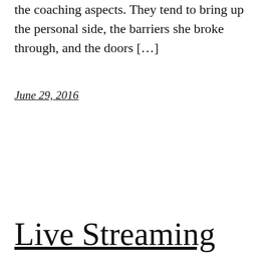the coaching aspects. They tend to bring up the personal side, the barriers she broke through, and the doors [...]
June 29, 2016
Live Streaming